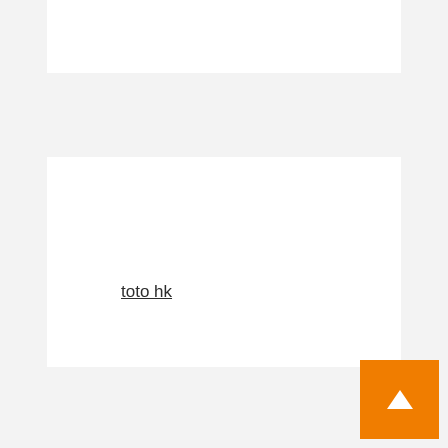toto hk
judi slot online
togel